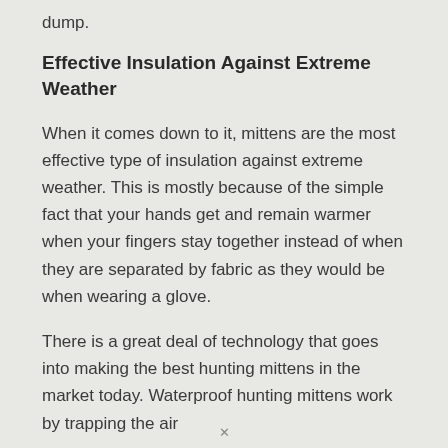dump.
Effective Insulation Against Extreme Weather
When it comes down to it, mittens are the most effective type of insulation against extreme weather. This is mostly because of the simple fact that your hands get and remain warmer when your fingers stay together instead of when they are separated by fabric as they would be when wearing a glove.
There is a great deal of technology that goes into making the best hunting mittens in the market today. Waterproof hunting mittens work by trapping the air